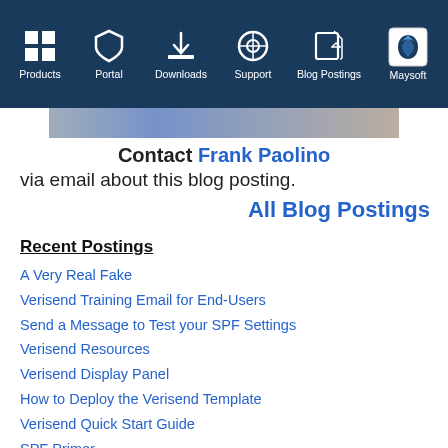Products | Portal | Downloads | Support | Blog Postings | Maysoft
[Figure (photo): Partial photo of a person (cropped at top)]
Contact Frank Paolino via email about this blog posting.
All Blog Postings
Recent Postings
A Very Real Fake
Verisend Training Email for End-Users
Send a Message to Test your SPF Settings
Verisend Resources
Verisend Display Panel
How to Deploy the Verisend Template
Verisend Quick Start Guide
SPF Primer
Verisend Explainer Video
Verisend Good Mail Tester
SPF for Domino
2ndLook for Domino
You Clicked on a Phishing Link via Notes